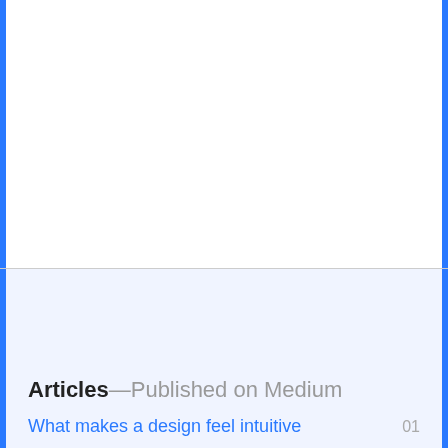[Figure (illustration): Top white section with blue left and right borders — decorative placeholder area]
[Figure (illustration): Bottom light blue section with blue left and right borders — decorative placeholder area]
Articles—Published on Medium
What makes a design feel intuitive  01